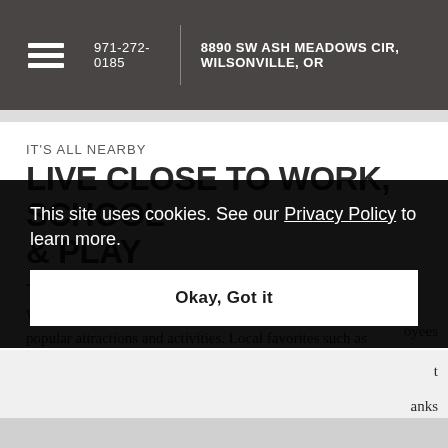971-272-0185 | 8890 SW ASH MEADOWS CIR, WILSONVILLE, OR
IT'S ALL NEARBY
LIVE CLOSE TO WORK, SCHOOL & PLAY
When you live at Terrene at the Grove, you're within minutes of popular attractions and activities. Local favorites such as [...]oyees [...] t [...] anks
This site uses cookies. See our Privacy Policy to learn more. Okay, Got it